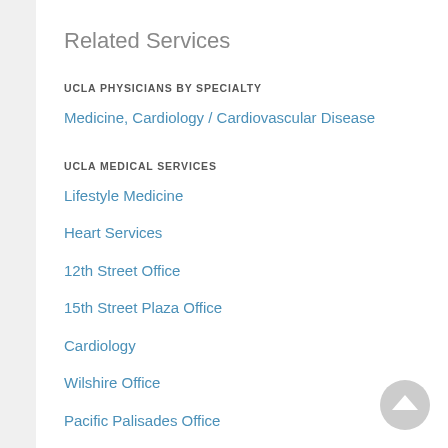Related Services
UCLA PHYSICIANS BY SPECIALTY
Medicine, Cardiology / Cardiovascular Disease
UCLA MEDICAL SERVICES
Lifestyle Medicine
Heart Services
12th Street Office
15th Street Plaza Office
Cardiology
Wilshire Office
Pacific Palisades Office
Operation Mend
Integrative Medicine Collaborative